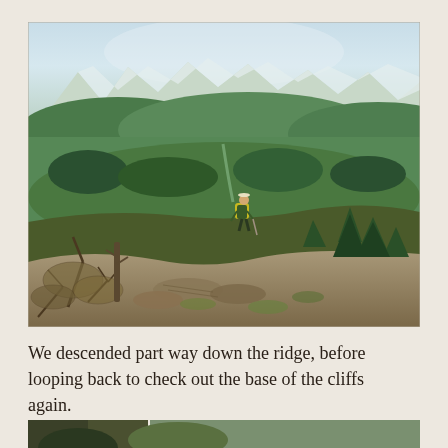[Figure (photo): A hiker with a yellow backpack walks along a mountain ridge surrounded by sparse conifer trees and scrubby brush in the foreground, with a wide valley of green forested hills and snow-capped mountains visible in the background under a hazy blue sky.]
We descended part way down the ridge, before looping back to check out the base of the cliffs again.
[Figure (photo): Partial view of another outdoor/landscape photo at the very bottom of the page, cropped off.]